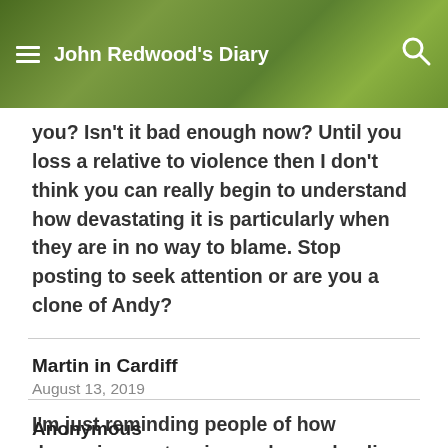John Redwood's Diary
you? Isn't it bad enough now? Until you loss a relative to violence then I don't think you can really begin to understand how devastating it is particularly when they are in no way to blame. Stop posting to seek attention or are you a clone of Andy?
Martin in Cardiff
August 13, 2019
I'm just reminding people of how draconian sentencing and armed police in the US apparently do not deter crime.
Anonymous